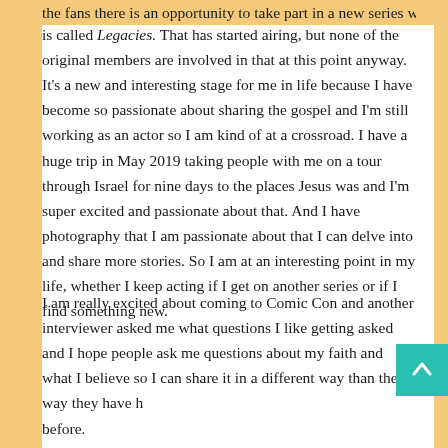the fans there is an opportunity to take part in a new series which is called Legacies. That has started airing, but none of the original members are involved in that at this point anyway. It's a new and interesting stage for me in life because I have become so passionate about sharing the gospel and I'm still working as an actor so I am kind of at a crossroad. I have a huge trip in May 2019 taking people with me on a tour through Israel for nine days to the places Jesus was and I'm super excited and passionate about that. And I have photography that I am passionate about that I can delve into and share more stories. So I am at an interesting point in my life, whether I keep acting if I get on another series or if I find something new.
I am really excited about coming to Comic Con and another interviewer asked me what questions I like getting asked and I hope people ask me questions about my faith and what I believe so I can share it in a different way than the way they have heard before.